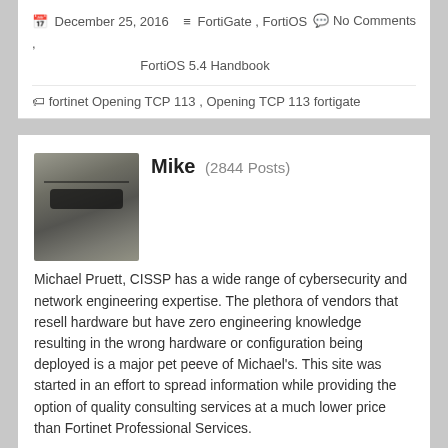December 25, 2016   FortiGate , FortiOS , FortiOS 5.4 Handbook   No Comments
fortinet Opening TCP 113 , Opening TCP 113 fortigate
Mike (2844 Posts)
[Figure (photo): Profile photo of Mike (Michael Pruett) wearing sunglasses]
Michael Pruett, CISSP has a wide range of cyber-security and network engineering expertise. The plethora of vendors that resell hardware but have zero engineering knowledge resulting in the wrong hardware or configuration being deployed is a major pet peeve of Michael's. This site was started in an effort to spread information while providing the option of quality consulting services at a much lower price than Fortinet Professional Services.
View all author's posts
← Rejecting PING requests   Obfuscate HTTP responses →